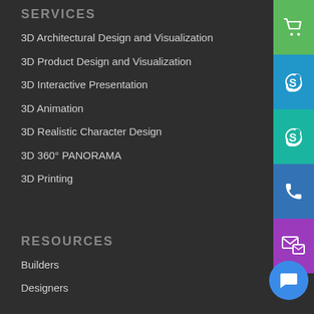SERVICES
3D Architectural Design and Visualization
3D Product Design and Visualization
3D Interactive Presentation
3D Animation
3D Realistic Character Design
3D 360° PANORAMA
3D Printing
RESOURCES
Builders
Designers
[Figure (infographic): Right sidebar with colored icon buttons: green shopping cart, blue Skype logo, teal Skype logo, blue phone, purple email/message icon, and a blue circular chat bubble button at bottom right]